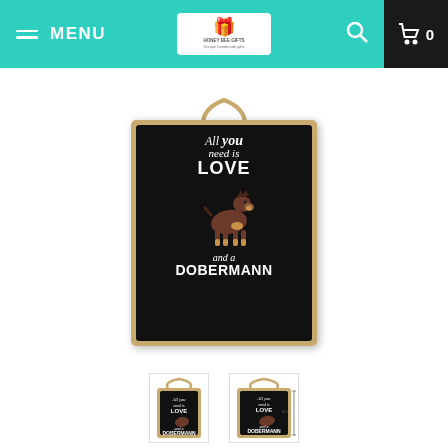MENU | [Logo: Honey Bee Gifts] | [Search] | [Cart] 0
[Figure (photo): Wooden hanging plaque with black background and jute rope hanger. Text reads: 'All you need is LOVE and a DOBERMANN' with an illustration of a Dobermann dog in the center.]
[Figure (photo): Small thumbnail of same Dobermann plaque sign, front view]
[Figure (photo): Small thumbnail of same Dobermann plaque sign with dimensions shown]